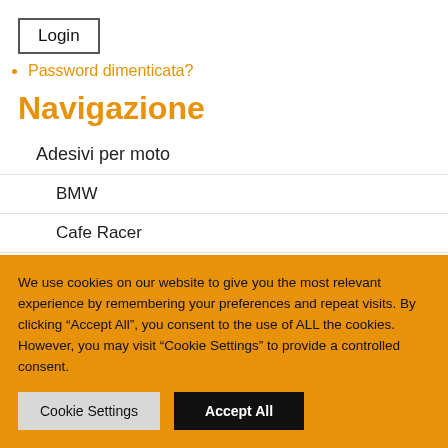Login
Password dimenticata?
Navigazione
Adesivi per moto
BMW
Cafe Racer
Deus ex Machina
We use cookies on our website to give you the most relevant experience by remembering your preferences and repeat visits. By clicking “Accept All”, you consent to the use of ALL the cookies. However, you may visit “Cookie Settings” to provide a controlled consent.
Cookie Settings | Accept All